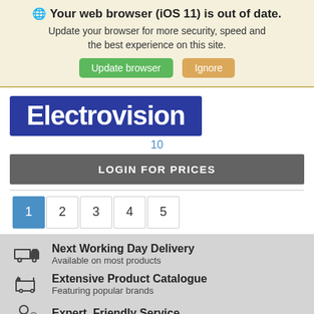🌐 Your web browser (iOS 11) is out of date. Update your browser for more security, speed and the best experience on this site.
Update browser | Ignore
[Figure (logo): Electrovision logo — white bold text on dark blue/navy background]
10
LOGIN FOR PRICES
1 2 3 4 5 (pagination)
Next Working Day Delivery
Available on most products
Extensive Product Catalogue
Featuring popular brands
Expert, Friendly Service